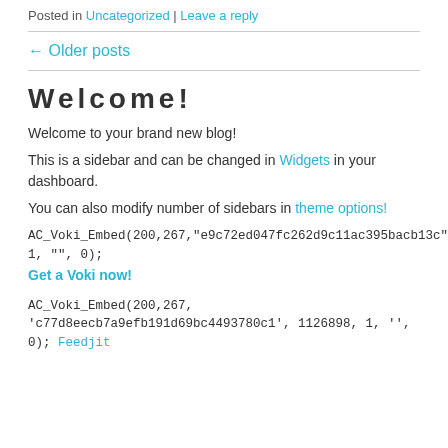Posted in Uncategorized | Leave a reply
← Older posts
Welcome!
Welcome to your brand new blog!
This is a sidebar and can be changed in Widgets in your dashboard.
You can also modify number of sidebars in theme options!
AC_Voki_Embed(200,267,"e9c72ed047fc262d9c11ac395bacb13c",11639990 1, "", 0);
Get a Voki now!
AC_Voki_Embed(200,267, 'c77d8eecb7a9efb191d69bc4493780c1', 1126898, 1, '', 0); Feedjit